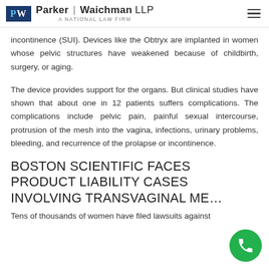Parker | Waichman LLP — A NATIONAL LAW FIRM
incontinence (SUI). Devices like the Obtryx are implanted in women whose pelvic structures have weakened because of childbirth, surgery, or aging.
The device provides support for the organs. But clinical studies have shown that about one in 12 patients suffers complications. The complications include pelvic pain, painful sexual intercourse, protrusion of the mesh into the vagina, infections, urinary problems, bleeding, and recurrence of the prolapse or incontinence.
BOSTON SCIENTIFIC FACES PRODUCT LIABILITY CASES INVOLVING TRANSVAGINAL ME…
Tens of thousands of women have filed lawsuits against